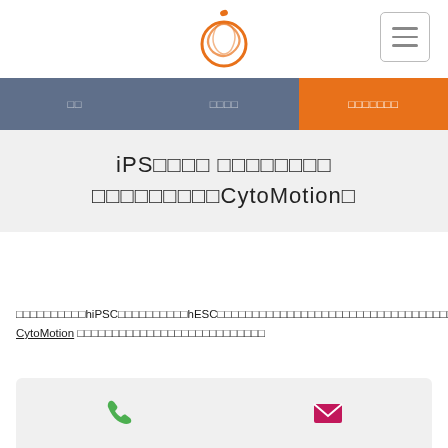[Orange circle logo] [hamburger menu button]
□□ □□□□ □□□□□□□
iPS□□□□ □□□□□□□□
□□□□□□□□□CytoMotion□
□□□□□□□□□□□hiPSC□□□□□□□□□□hESC□□□□□□□□□□□□□□□□□□□□□□□□□□□□□□□□□□□□□□□□□□□□□□□□□□□IonOptix□□□□□□□□ CytoMotion □□□□□□□□□□□□□□□□□□□□□□□□□□□
[Figure (other): Contact bar with phone icon (green) and email/envelope icon (pink/magenta)]